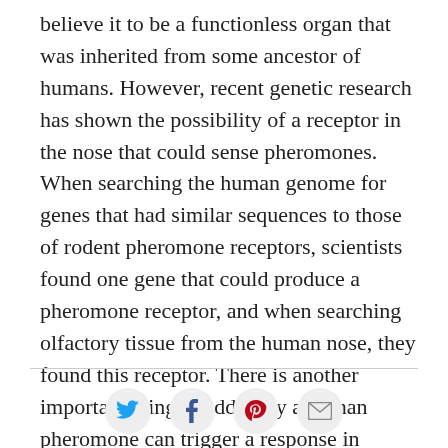believe it to be a functionless organ that was inherited from some ancestor of humans. However, recent genetic research has shown the possibility of a receptor in the nose that could sense pheromones. When searching the human genome for genes that had similar sequences to those of rodent pheromone receptors, scientists found one gene that could produce a pheromone receptor, and when searching olfactory tissue from the human nose, they found this receptor. There is another important thing to add; only a human pheromone can trigger a response in humans.
[Figure (other): Social sharing icons: Twitter (bird), Facebook (f), Pinterest (p), Email (envelope)]